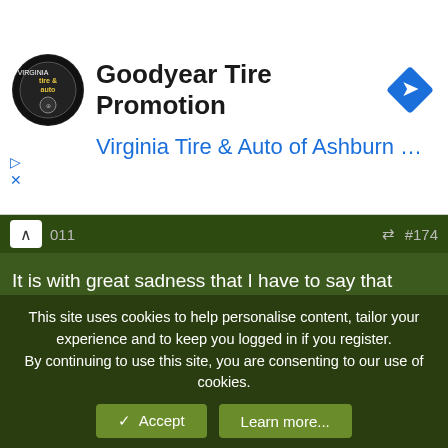[Figure (screenshot): Advertisement banner for Goodyear Tire Promotion from Virginia Tire & Auto of Ashburn, with logo, title, blue subtitle text, and a blue diamond navigation icon.]
It is with great sadness that I have to say that MCpl Dean Benoit (Sig Op) died in a single vehicle accident last night on his way home.  Dean was a member of CFJSR in Kingston.  I will update with any information I get WRT funeral details.

Carry on Dean  🫡
Haggis
Army.ca Veteran
This site uses cookies to help personalise content, tailor your experience and to keep you logged in if you register.
By continuing to use this site, you are consenting to our use of cookies.